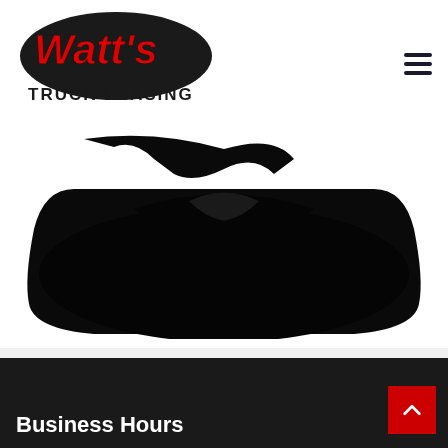[Figure (logo): Watt's Truck Leasing logo with red script 'Watt's' over black truck silhouette and bold black 'TRUCK LEASING' text]
[Figure (photo): Large black shape on white background, appears to be a close-up of a truck component or logo element — predominantly black rounded shape with a notch at top]
Business Hours